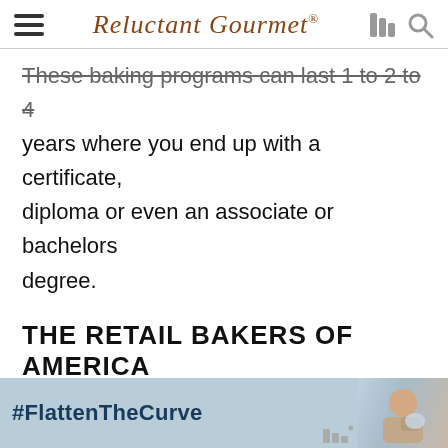Reluctant Gourmet
These baking programs can last 1 to 2 to 4 years where you end up with a certificate, diploma or even an associate or bachelors degree.
THE RETAIL BAKERS OF AMERICA
Founded in 1918, this non for profit organization works to create standardized industry-specific training programs and promote the success of the retail baking in...
[Figure (infographic): Advertisement banner with #FlattenTheCurve text and photo of person washing hands]